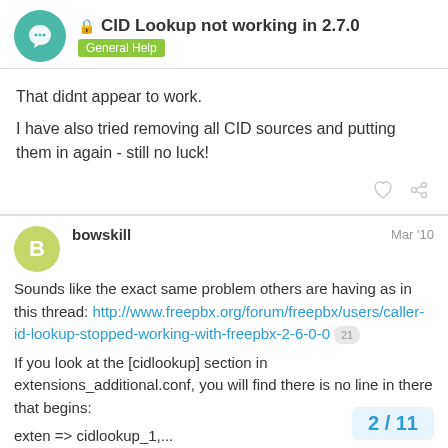CID Lookup not working in 2.7.0 — General Help
That didnt appear to work.

I have also tried removing all CID sources and putting them in again - still no luck!
bowskill — Mar '10

Sounds like the exact same problem others are having as in this thread: http://www.freepbx.org/forum/freepbx/users/caller-id-lookup-stopped-working-with-freepbx-2-6-0-0 21

If you look at the [cidlookup] section in extensions_additional.conf, you will find there is no line in there that begins:
exten => cidlookup_1,...
2 / 11